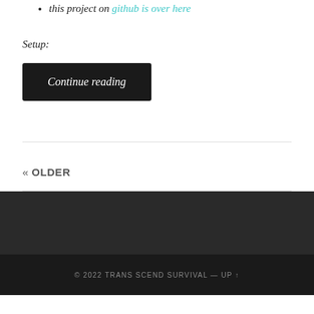this project on github is over here
Setup:
Continue reading
« OLDER
© 2022 TRANS SCEND SURVIVAL — UP ↑